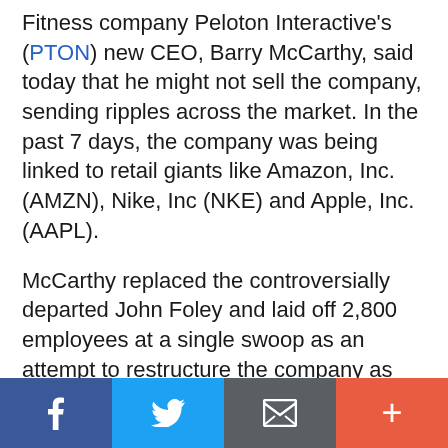Fitness company Peloton Interactive's (PTON) new CEO, Barry McCarthy, said today that he might not sell the company, sending ripples across the market. In the past 7 days, the company was being linked to retail giants like Amazon, Inc. (AMZN), Nike, Inc (NKE) and Apple, Inc. (AAPL).
McCarthy replaced the controversially departed John Foley and laid off 2,800 employees at a single swoop as an attempt to restructure the company as talks of a sale continue to loom large. The value of the company has also plunged to $8 billion, from $50 billion in early 2020.
[Figure (other): Social media share bar with four buttons: Facebook (blue), Twitter (light blue), Email/envelope (dark grey), and a plus/more button (orange-red)]